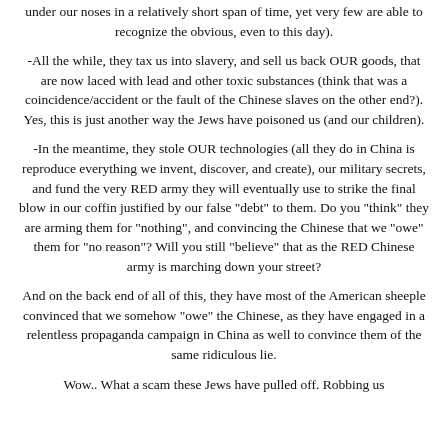under our noses in a relatively short span of time, yet very few are able to recognize the obvious, even to this day).
-All the while, they tax us into slavery, and sell us back OUR goods, that are now laced with lead and other toxic substances (think that was a coincidence/accident or the fault of the Chinese slaves on the other end?). Yes, this is just another way the Jews have poisoned us (and our children).
-In the meantime, they stole OUR technologies (all they do in China is reproduce everything we invent, discover, and create), our military secrets, and fund the very RED army they will eventually use to strike the final blow in our coffin justified by our false "debt" to them. Do you "think" they are arming them for "nothing", and convincing the Chinese that we "owe" them for "no reason"? Will you still "believe" that as the RED Chinese army is marching down your street?
And on the back end of all of this, they have most of the American sheeple convinced that we somehow "owe" the Chinese, as they have engaged in a relentless propaganda campaign in China as well to convince them of the same ridiculous lie.
Wow.. What a scam these Jews have pulled off. Robbing us